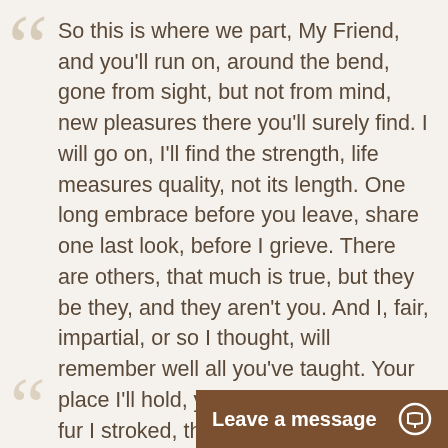So this is where we part, My Friend, and you'll run on, around the bend, gone from sight, but not from mind, new pleasures there you'll surely find. I will go on, I'll find the strength, life measures quality, not its length. One long embrace before you leave, share one last look, before I grieve. There are others, that much is true, but they be they, and they aren't you. And I, fair, impartial, or so I thought, will remember well all you've taught. Your place I'll hold, you will be missed, the fur I stroked, the nose I kissed. And as you journey to your final rest, take with you this...I loved you best.
Dr. Meg lit a candle for Zoe on September 29, 2015 - 10:30